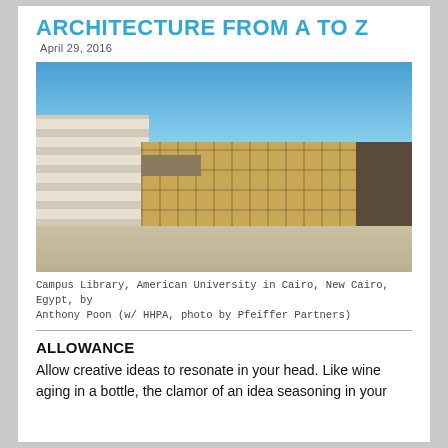ARCHITECTURE FROM A TO Z
April 29, 2016
[Figure (photo): Exterior photo of the Campus Library at the American University in Cairo, New Cairo, Egypt. A large modernist building with a tan/sandstone grid-patterned facade dominates the center. People walk in the foreground plaza. Palm trees are visible on the left. Blue sky above.]
Campus Library, American University in Cairo, New Cairo, Egypt, by Anthony Poon (w/ HHPA, photo by Pfeiffer Partners)
ALLOWANCE
Allow creative ideas to resonate in your head. Like wine aging in a bottle, the clamor of an idea seasoning in your